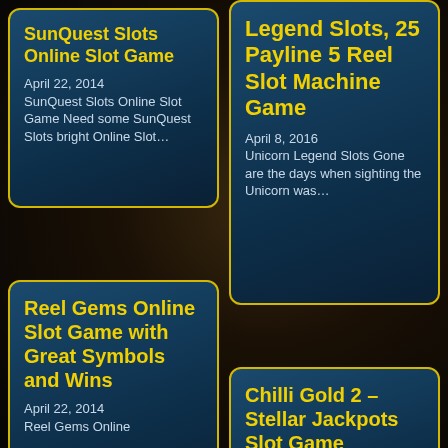SunQuest Slots Online Slot Game
April 22, 2014 SunQuest Slots Online Slot Game Need some SunQuest Slots bright Online Slot…
Legend Slots, 25 Payline 5 Reel Slot Machine Game
April 8, 2016 Unicorn Legend Slots Gone are the days when sighting the Unicorn was…
Reel Gems Online Slot Game with Great Symbols and Wins
April 22, 2014 Reel Gems Online
Chilli Gold 2 – Stellar Jackpots Slot Game
June 1, 2016 Chilli Gold 2…